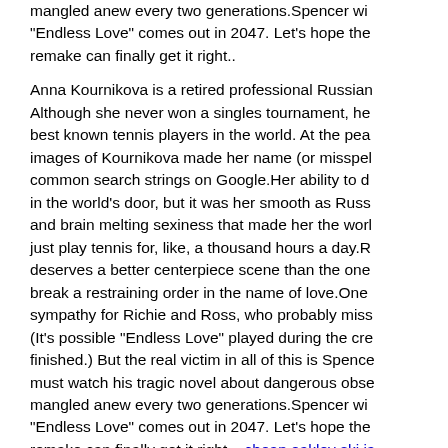mangled anew every two generations.Spencer wi... "Endless Love" comes out in 2047. Let's hope the remake can finally get it right..
Anna Kournikova is a retired professional Russian... Although she never won a singles tournament, he... best known tennis players in the world. At the pea... images of Kournikova made her name (or misspel... common search strings on Google.Her ability to d... in the world's door, but it was her smooth as Russ... and brain melting sexiness that made her the worl... just play tennis for, like, a thousand hours a day.R... deserves a better centerpiece scene than the one... break a restraining order in the name of love.One... sympathy for Richie and Ross, who probably miss... (It's possible "Endless Love" played during the cre... finished.) But the real victim in all of this is Spence... must watch his tragic novel about dangerous obse... mangled anew every two generations.Spencer wi... "Endless Love" comes out in 2047. Let's hope the remake can finally get it right. cheap oakley ski ja...